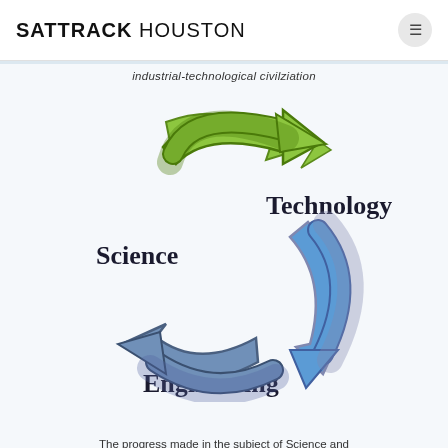SATTRACK HOUSTON
industrial-technological civilziation
[Figure (infographic): Circular diagram showing three arrows forming a cycle between Science, Technology, and Engineering. A green curved arrow points right at the top, a blue curved arrow points down-left on the right, and a steel-blue arrow points left at the bottom-left. Labels: 'Science' (left), 'Technology' (right), 'Engineering' (bottom center).]
The progress made in the subject of Science and